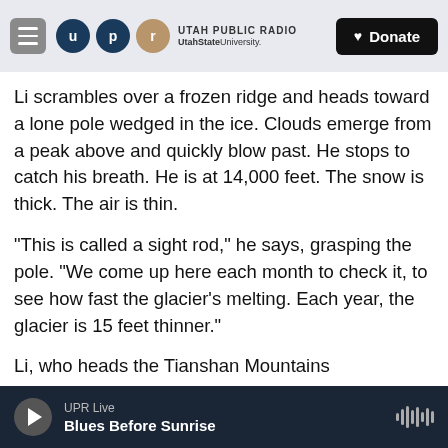UTAH PUBLIC RADIO | UtahStateUniversity. | Donate
Li scrambles over a frozen ridge and heads toward a lone pole wedged in the ice. Clouds emerge from a peak above and quickly blow past. He stops to catch his breath. He is at 14,000 feet. The snow is thick. The air is thin.
"This is called a sight rod," he says, grasping the pole. "We come up here each month to check it, to see how fast the glacier's melting. Each year, the glacier is 15 feet thinner."
Li, who heads the Tianshan Mountains Glaciological Station of the Chinese Academy of
UPR Live | Blues Before Sunrise